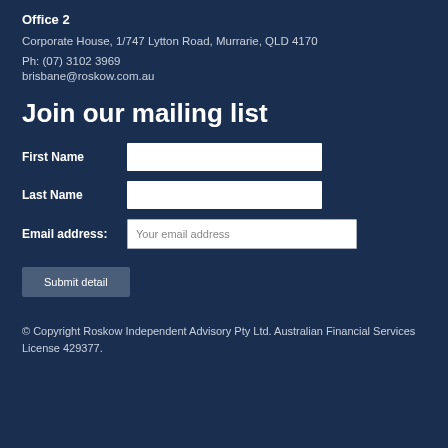Office 2
Corporate House, 1/747 Lytton Road, Murrarie, QLD 4170
Ph: (07) 3102 3969
brisbane@roskow.com.au
Join our mailing list
First Name [input field]
Last Name [input field]
Email address: Your email address [input field]
Submit detail
© Copyright Roskow Independent Advisory Pty Ltd. Australian Financial Services License 429377.